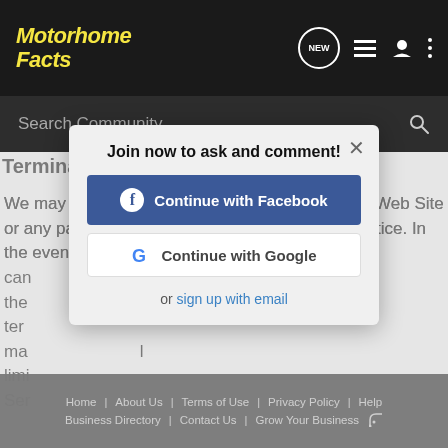Motorhome Facts
Search Community
Termination
We may cancel or terminate your right to use the Web Site or any part of the Web Site at any time without notice. In the event of cancellation or termination, you immediately lose the right to access the Website... termination, limitations, services...
Join now to ask and comment!
Continue with Facebook
Continue with Google
or sign up with email
Home   About Us   Terms of Use   Privacy Policy   Help   Business Directory   Contact Us   |   Grow Your Business